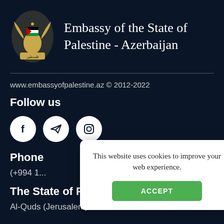[Figure (logo): Palestinian Authority coat of arms / Embassy of Palestine emblem with eagle and Arabic text]
Embassy of the State of Palestine - Azerbaijan
www.embassyofpalestine.az © 2012-2022
Follow us
[Figure (infographic): Three white social media icons on white circles: Facebook (f), Telegram (paper plane), Instagram (camera)]
Phone
(+994 1…
The State of Palestine
Al-Quds (Jerusalem)
This website uses cookies to improve your web experience.
ACCEPT